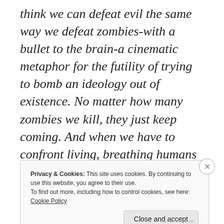think we can defeat evil the same way we defeat zombies-with a bullet to the brain-a cinematic metaphor for the futility of trying to bomb an ideology out of existence. No matter how many zombies we kill, they just keep coming. And when we have to confront living, breathing humans who are not part of our little group, that's when everything really breaks down.
Privacy & Cookies: This site uses cookies. By continuing to use this website, you agree to their use.
To find out more, including how to control cookies, see here: Cookie Policy
Close and accept